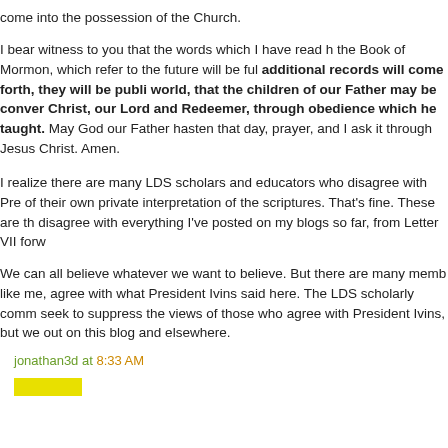come into the possession of the Church.
I bear witness to you that the words which I have read h... the Book of Mormon, which refer to the future will be ful... additional records will come forth, they will be publi... world, that the children of our Father may be conver... Christ, our Lord and Redeemer, through obedience... which he taught. May God our Father hasten that day,... prayer, and I ask it through Jesus Christ. Amen.
I realize there are many LDS scholars and educators who disagree with Pre... of their own private interpretation of the scriptures. That's fine. These are th... disagree with everything I've posted on my blogs so far, from Letter VII forw...
We can all believe whatever we want to believe. But there are many memb... like me, agree with what President Ivins said here. The LDS scholarly comm... seek to suppress the views of those who agree with President Ivins, but we... out on this blog and elsewhere.
jonathan3d at 8:33 AM